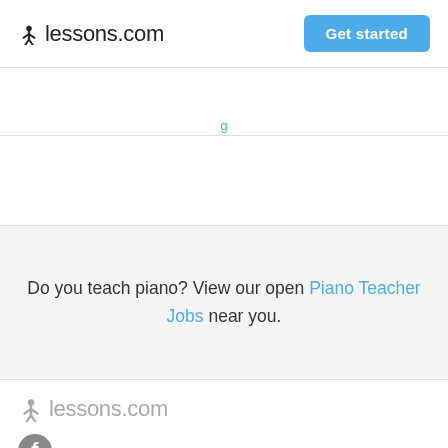lessons.com  Get started
Do you teach piano? View our open Piano Teacher Jobs near you.
[Figure (logo): lessons.com footer logo in gray with person icon]
[Figure (logo): Facebook circular icon in gray]